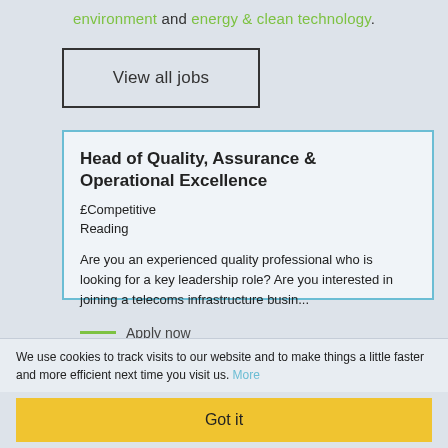environment and energy & clean technology.
View all jobs
Head of Quality, Assurance & Operational Excellence
£Competitive
Reading
Are you an experienced quality professional who is looking for a key leadership role? Are you interested in joining a telecoms infrastructure busin...
Apply now
We use cookies to track visits to our website and to make things a little faster and more efficient next time you visit us. More
Got it